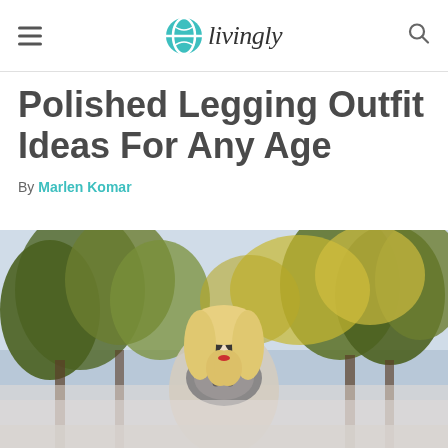livingly
Polished Legging Outfit Ideas For Any Age
By Marlen Komar
[Figure (photo): A blonde woman wearing sunglasses and a patterned scarf, photographed outdoors with trees in the background. The photo is partially cropped, showing the upper body of the woman.]